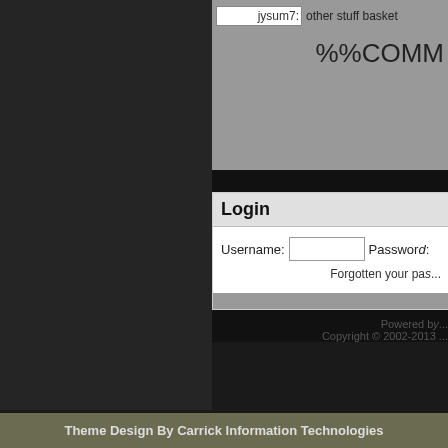[Figure (screenshot): Partial web page screenshot showing a login interface with username/password fields, a top section with 'jysum7:' input and 'other stuff basket' text, '%%COMM' text partially visible, and footer text 'Powered by' and 'Copyright 2002-2013']
Login
Username:
Password:
Forgotten your pas...
Powered b...
Copyright © 2002-2013 ...
Theme Design By Carrick Information Technologies